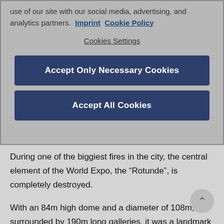use of our site with our social media, advertising, and analytics partners.  Imprint  Cookie Policy
Cookies Settings
Accept Only Necessary Cookies
Accept All Cookies
During one of the biggiest fires in the city, the central element of the World Expo, the “Rotunde”, is completely destroyed.
With an 84m high dome and a diameter of 108m, surrounded by 190m long galleries, it was a landmark in Vienna in that time.
During National Socialist times, tradeshows are still